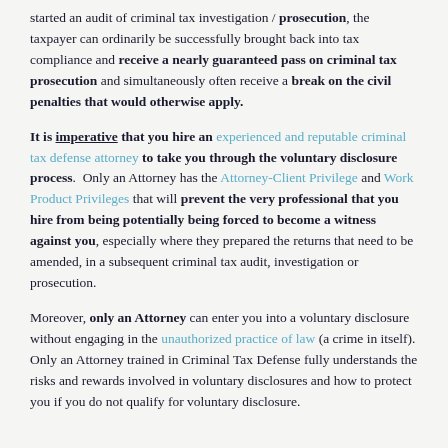started an audit of criminal tax investigation / prosecution, the taxpayer can ordinarily be successfully brought back into tax compliance and receive a nearly guaranteed pass on criminal tax prosecution and simultaneously often receive a break on the civil penalties that would otherwise apply.
It is imperative that you hire an experienced and reputable criminal tax defense attorney to take you through the voluntary disclosure process. Only an Attorney has the Attorney-Client Privilege and Work Product Privileges that will prevent the very professional that you hire from being potentially being forced to become a witness against you, especially where they prepared the returns that need to be amended, in a subsequent criminal tax audit, investigation or prosecution.
Moreover, only an Attorney can enter you into a voluntary disclosure without engaging in the unauthorized practice of law (a crime in itself). Only an Attorney trained in Criminal Tax Defense fully understands the risks and rewards involved in voluntary disclosures and how to protect you if you do not qualify for voluntary disclosure.